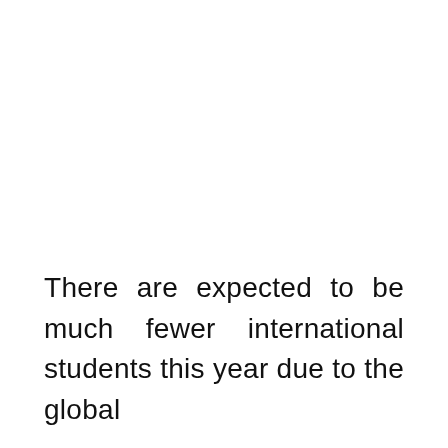There are expected to be much fewer international students this year due to the global